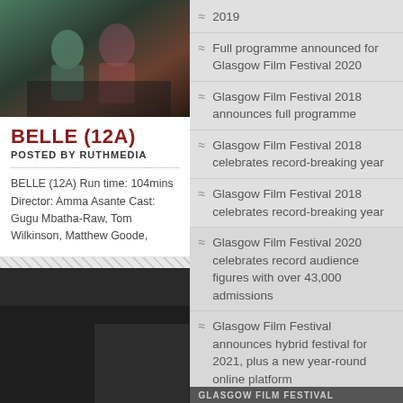[Figure (photo): Photo of people in colorful traditional dress seated at a table]
BELLE (12A)
POSTED BY RUTHMEDIA
BELLE (12A) Run time: 104mins Director: Amma Asante Cast: Gugu Mbatha-Raw, Tom Wilkinson, Matthew Goode,
2019
Full programme announced for Glasgow Film Festival 2020
Glasgow Film Festival 2018 announces full programme
Glasgow Film Festival 2018 celebrates record-breaking year
Glasgow Film Festival 2018 celebrates record-breaking year
Glasgow Film Festival 2020 celebrates record audience figures with over 43,000 admissions
Glasgow Film Festival announces hybrid festival for 2021, plus a new year-round online platform
GLASGOW FILM FESTIVAL...